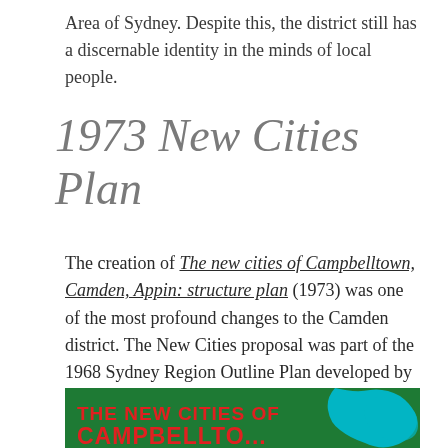Area of Sydney. Despite this, the district still has a discernable identity in the minds of local people.
1973 New Cities Plan
The creation of The new cities of Campbelltown, Camden, Appin: structure plan (1973) was one of the most profound changes to the Camden district. The New Cities proposal was part of the 1968 Sydney Region Outline Plan developed by the State Planning Authority of the Askin Liberal government and became a developers' dream.
[Figure (photo): Cover of a green booklet titled 'THE NEW CITIES OF CAMPBELLTOWN...' with red bold text and a cyan/teal map graphic on the right side]